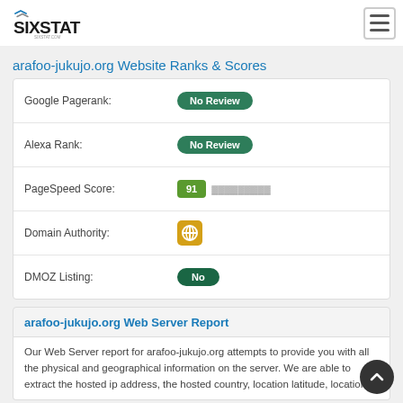SIXSTAT — sixstat.com
arafoo-jukujo.org Website Ranks & Scores
| Metric | Value |
| --- | --- |
| Google Pagerank: | No Review |
| Alexa Rank: | No Review |
| PageSpeed Score: | 91 |
| Domain Authority: | [icon] |
| DMOZ Listing: | No |
arafoo-jukujo.org Web Server Report
Our Web Server report for arafoo-jukujo.org attempts to provide you with all the physical and geographical information on the server. We are able to extract the hosted ip address, the hosted country, location latitude, location